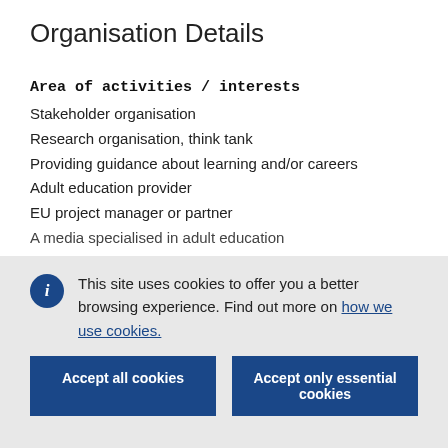Organisation Details
Area of activities / interests
Stakeholder organisation
Research organisation, think tank
Providing guidance about learning and/or careers
Adult education provider
EU project manager or partner
A media specialised in adult education
This site uses cookies to offer you a better browsing experience. Find out more on how we use cookies.